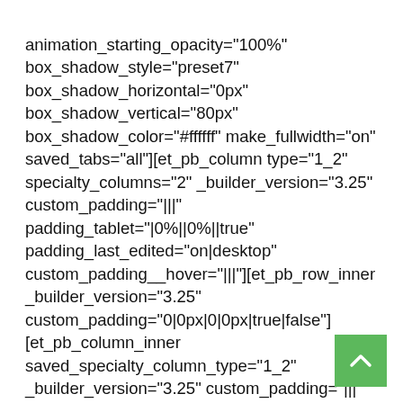animation_starting_opacity="100%" box_shadow_style="preset7" box_shadow_horizontal="0px" box_shadow_vertical="80px" box_shadow_color="#ffffff" make_fullwidth="on" saved_tabs="all"][et_pb_column type="1_2" specialty_columns="2" _builder_version="3.25" custom_padding="|||" padding_tablet="|0%||0%||true" padding_last_edited="on|desktop" custom_padding__hover="|||"][et_pb_row_inner _builder_version="3.25" custom_padding="0|0px|0|0px|true|false"] [et_pb_column_inner saved_specialty_column_type="1_2" _builder_version="3.25" custom_padding="|||" custom_padding__hover="|||"][et_pb_text module_id="get-in-touch" _builder_version="4.6.3" text_font="Lato||||||||" text_font_size="22px"
[Figure (other): Green back-to-top button with upward chevron arrow]